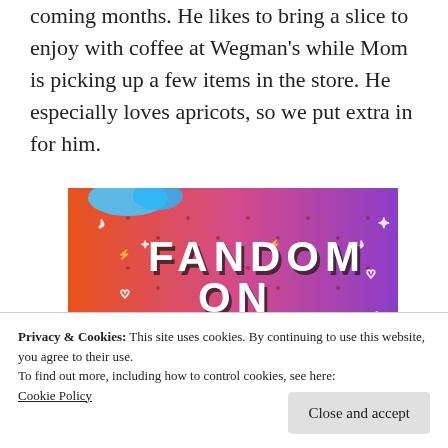coming months. He likes to bring a slice to enjoy with coffee at Wegman's while Mom is picking up a few items in the store. He especially loves apricots, so we put extra in for him.
[Figure (illustration): Colorful Fandom on Tumblr promotional image with orange-to-purple gradient background, doodle icons, and bold text reading FANDOM ON tumblr]
Privacy & Cookies: This site uses cookies. By continuing to use this website, you agree to their use.
To find out more, including how to control cookies, see here: Cookie Policy